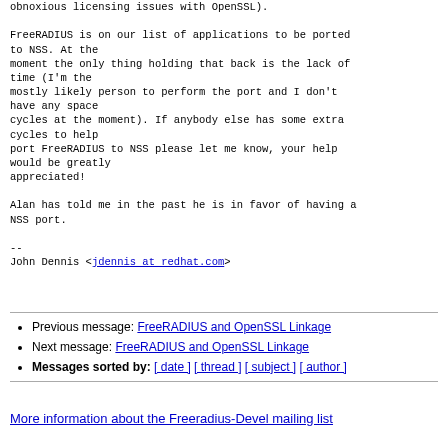obnoxious licensing issues with OpenSSL).

FreeRADIUS is on our list of applications to be ported to NSS. At the
moment the only thing holding that back is the lack of time (I'm the
mostly likely person to perform the port and I don't have any space
cycles at the moment). If anybody else has some extra cycles to help
port FreeRADIUS to NSS please let me know, your help would be greatly
appreciated!

Alan has told me in the past he is in favor of having a NSS port.

--
John Dennis <jdennis at redhat.com>
Previous message: FreeRADIUS and OpenSSL Linkage
Next message: FreeRADIUS and OpenSSL Linkage
Messages sorted by: [ date ] [ thread ] [ subject ] [ author ]
More information about the Freeradius-Devel mailing list